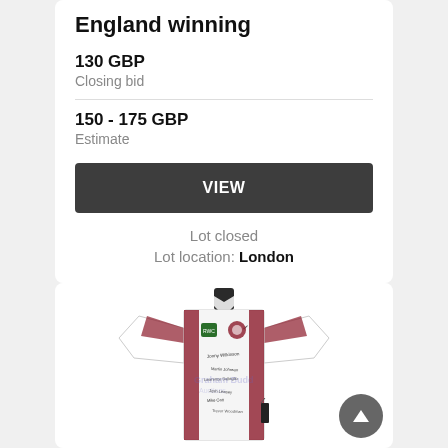England winning
130 GBP
Closing bid
150 - 175 GBP
Estimate
VIEW
Lot closed
Lot location: London
[Figure (photo): White England rugby shirt with dark red panel details and signatures, displayed on a mannequin. Features Rugby World Cup 2003 badge and England rose badge. Multiple team signatures on the shirt body.]